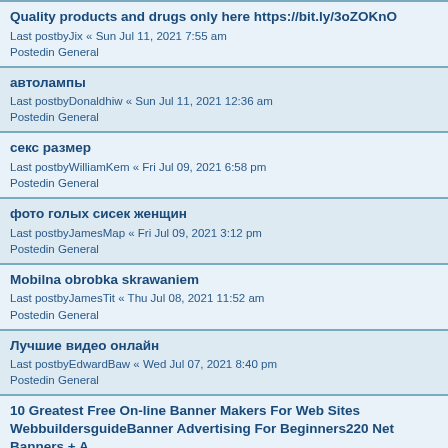Quality products and drugs only here https://bit.ly/3oZOKnO
Last postbyJix « Sun Jul 11, 2021 7:55 am
Postedin General
автолампы
Last postbyDonaldhiw « Sun Jul 11, 2021 12:36 am
Postedin General
секс размер
Last postbyWilliamKem « Fri Jul 09, 2021 6:58 pm
Postedin General
фото голых сисек женщин
Last postbyJamesMap « Fri Jul 09, 2021 3:12 pm
Postedin General
Mobilna obrobka skrawaniem
Last postbyJamesTit « Thu Jul 08, 2021 11:52 am
Postedin General
Лучшие видео онлайн
Last postbyEdwardBaw « Wed Jul 07, 2021 8:40 pm
Postedin General
10 Greatest Free On-line Banner Makers For Web Sites WebbuildersguideBanner Advertising For Beginners220 Net Banners + A
Last postbyShantelCak « Wed Jul 07, 2021 1:40 am
Postedin General
Get Visa Assistance online
Last postbytraitan « Mon May 24, 2021 7:00 am
Postedin General